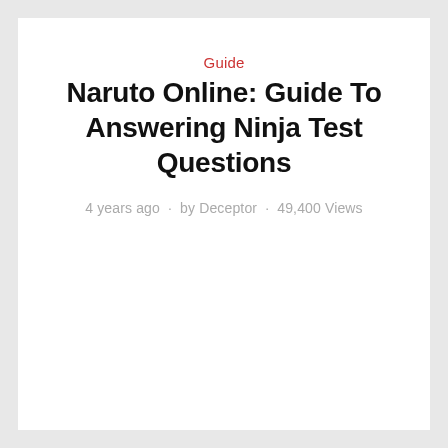Guide
Naruto Online: Guide To Answering Ninja Test Questions
4 years ago · by Deceptor · 49,400 Views